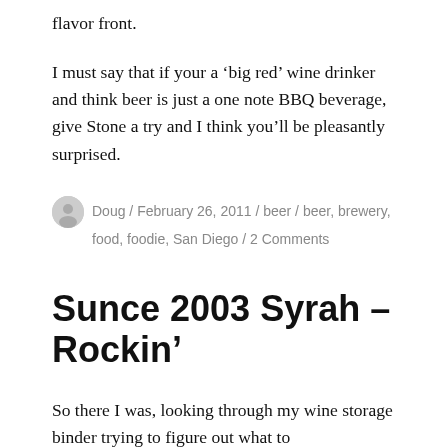flavor front.
I must say that if your a ‘big red’ wine drinker and think beer is just a one note BBQ beverage, give Stone a try and I think you’ll be pleasantly surprised.
Doug / February 26, 2011 / beer / beer, brewery, food, foodie, San Diego / 2 Comments
Sunce 2003 Syrah – Rockin’
So there I was, looking through my wine storage binder trying to figure out what to